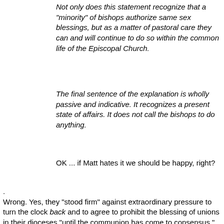Not only does this statement recognize that a "minority" of bishops authorize same sex blessings, but as a matter of pastoral care they can and will continue to do so within the common life of the Episcopal Church.
The final sentence of the explanation is wholly passive and indicative. It recognizes a present state of affairs. It does not call the bishops to do anything.
OK ... if Matt hates it we should be happy, right?
.
Wrong. Yes, they "stood firm" against extraordinary pressure to turn the clock back and to agree to prohibit the blessing of unions in their dioceses "until the communion has come to consensus." (See also: "the cows are on their way home.") They were also pushed to agree to more mandatory language than B033's "urged to consider restraint" and instead affirmed that B033 stands as a resolution of the church at this point in our history. (That's a fact and it sucks